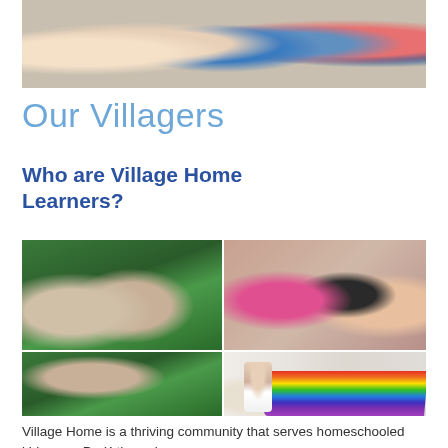[Figure (photo): Group of children and teens sitting together in a classroom or group setting, smiling and posing]
Our Villagers
Who are Village Home Learners?
[Figure (photo): Collage of four photos: two teens at a chalkboard, two girls reading a book together, a young child with a teacher, and a small child painting a rainbow on a wall]
Village Home is a thriving community that serves homeschooled kids ages PreK through